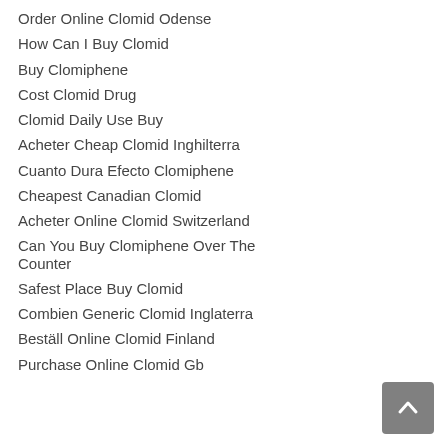Order Online Clomid Odense
How Can I Buy Clomid
Buy Clomiphene
Cost Clomid Drug
Clomid Daily Use Buy
Acheter Cheap Clomid Inghilterra
Cuanto Dura Efecto Clomiphene
Cheapest Canadian Clomid
Acheter Online Clomid Switzerland
Can You Buy Clomiphene Over The Counter
Safest Place Buy Clomid
Combien Generic Clomid Inglaterra
Beställ Online Clomid Finland
Purchase Online Clomid Gb